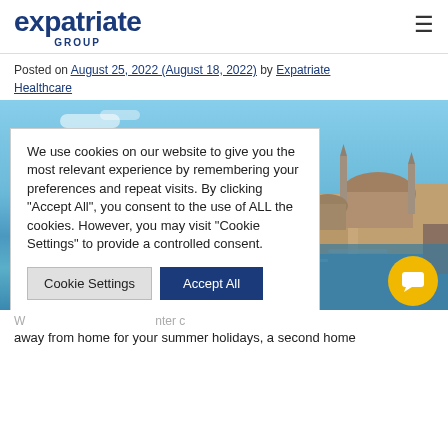expatriate GROUP
Posted on August 25, 2022 (August 18, 2022) by Expatriate Healthcare
[Figure (photo): Istanbul skyline with mosque domes, minarets, and waterfront under a blue sky]
We use cookies on our website to give you the most relevant experience by remembering your preferences and repeat visits. By clicking "Accept All", you consent to the use of ALL the cookies. However, you may visit "Cookie Settings" to provide a controlled consent.
away from home for your summer holidays, a second home